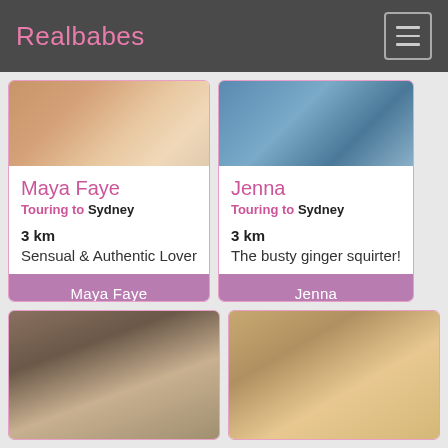Realbabes
Maya Faye
Touring to Sydney
3 km
Sensual & Authentic Lover
Jenna
Touring to Sydney
3 km
The busty ginger squirter!
[Figure (photo): Bottom-left card photo showing a woman with dark hair]
[Figure (photo): Bottom-right card photo showing a woman with reddish hair]